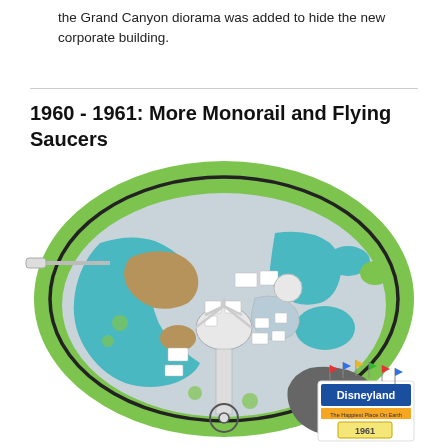the Grand Canyon diorama was added to hide the new corporate building.
1960 - 1961: More Monorail and Flying Saucers
[Figure (map): A stylized map of Disneyland park circa 1961, showing park layout with green outer border, teal/blue water features (Rivers of America, lagoon areas), gray hub and main street, white building footprints, brown terrain areas, dark railroad track loop, and a Disneyland 1961 logo in the lower right corner with colorful flags.]